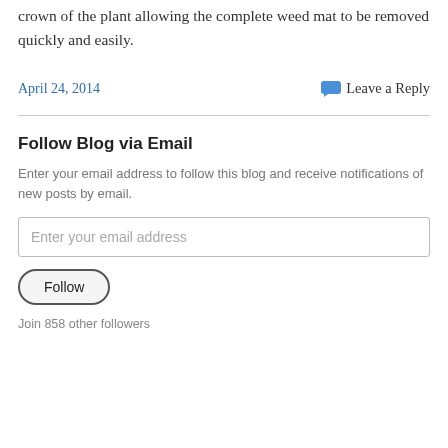crown of the plant allowing the complete weed mat to be removed quickly and easily.
April 24, 2014
Leave a Reply
Follow Blog via Email
Enter your email address to follow this blog and receive notifications of new posts by email.
Enter your email address
Follow
Join 858 other followers